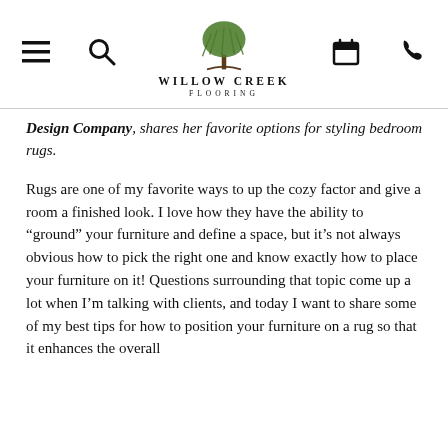Willow Creek Flooring
Design Company, shares her favorite options for styling bedroom rugs.
Rugs are one of my favorite ways to up the cozy factor and give a room a finished look. I love how they have the ability to “ground” your furniture and define a space, but it’s not always obvious how to pick the right one and know exactly how to place your furniture on it! Questions surrounding that topic come up a lot when I’m talking with clients, and today I want to share some of my best tips for how to position your furniture on a rug so that it enhances the overall